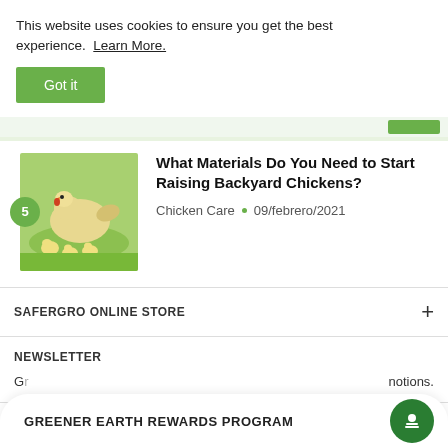This website uses cookies to ensure you get the best experience. Learn More.
Got it
What Materials Do You Need to Start Raising Backyard Chickens?
Chicken Care • 09/febrero/2021
SAFERGRO ONLINE STORE
NEWSLETTER
G... notions.
GREENER EARTH REWARDS PROGRAM